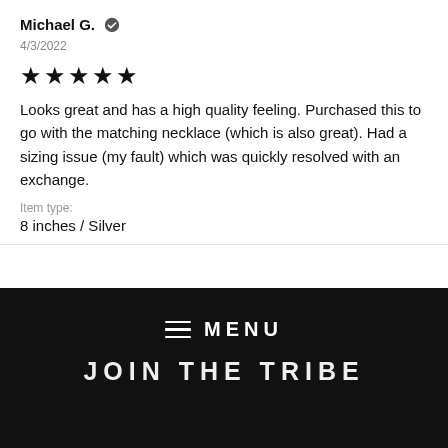Michael G. ✓
4/3/2022
★★★★★
Looks great and has a high quality feeling. Purchased this to go with the matching necklace (which is also great). Had a sizing issue (my fault) which was quickly resolved with an exchange.
Item type:
8 inches / Silver
≡  MENU
JOIN THE TRIBE